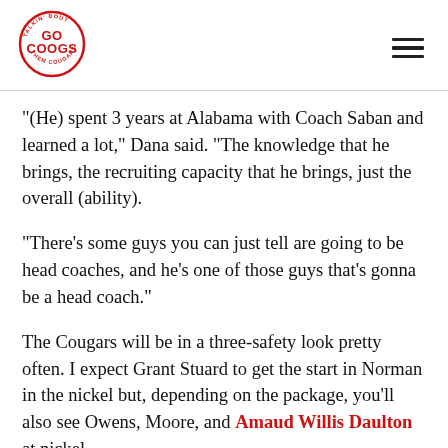[Figure (logo): GoCougs circular logo in red with text 'TALKIN BOUT GOCOOGS THEM COUGARS']
“(He) spent 3 years at Alabama with Coach Saban and learned a lot,” Dana said. “The knowledge that he brings, the recruiting capacity that he brings, just the overall (ability).
“There’s some guys you can just tell are going to be head coaches, and he’s one of those guys that’s gonna be a head coach.”
The Cougars will be in a three-safety look pretty often. I expect Grant Stuard to get the start in Norman in the nickel but, depending on the package, you’ll also see Owens, Moore, and Amaud Willis Daulton at nickel.